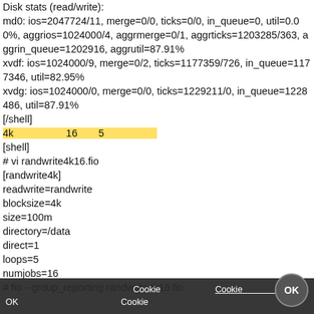Disk stats (read/write):
md0: ios=2047724/11, merge=0/0, ticks=0/0, in_queue=0, util=0.00%, aggrios=1024000/4, aggrmerge=0/1, aggrticks=1203285/363, aggrin_queue=1202916, aggrutil=87.91%
xvdf: ios=1024000/9, merge=0/2, ticks=1177359/726, in_queue=1177346, util=82.95%
xvdg: ios=1024000/0, merge=0/0, ticks=1229211/0, in_queue=1228486, util=87.91%
[/shell]
4k（ランダムライト）16スレッド5ループの実行
[shell]
# vi randwrite4k16.fio
[randwrite4k]
readwrite=randwrite
blocksize=4k
size=100m
directory=/data
direct=1
loops=5
numjobs=16
# fio --group_reporting randwrite4k16.fio
このサイトはCookieを使用しています。Cookieポリシーを読む
OK をクリックすると、このサイトのCookieの使用に同意したことになります。